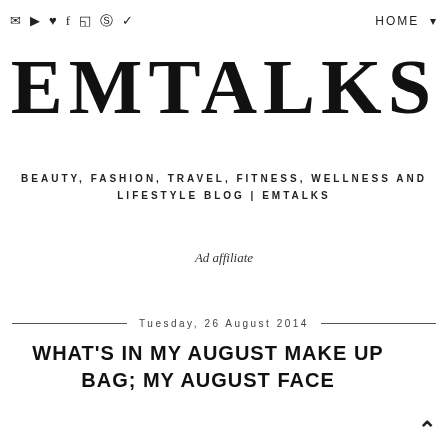✉ ▶ ♥ f ⊡ ⊕ ✓   HOME
EMTALKS
BEAUTY, FASHION, TRAVEL, FITNESS, WELLNESS AND LIFESTYLE BLOG | EMTALKS
Ad affiliate
Tuesday, 26 August 2014
WHAT'S IN MY AUGUST MAKE UP BAG; MY AUGUST FACE